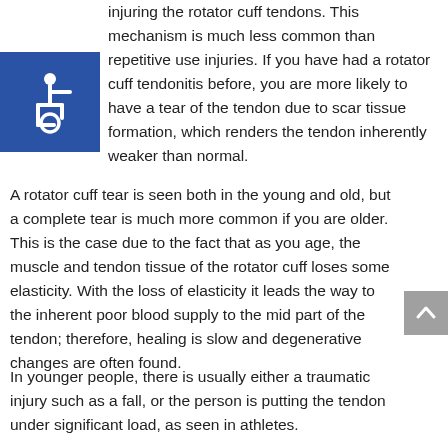injuring the rotator cuff tendons. This mechanism is much less common than repetitive use injuries. If you have had a rotator cuff tendonitis before, you are more likely to have a tear of the tendon due to scar tissue formation, which renders the tendon inherently weaker than normal.
[Figure (illustration): Blue square with white wheelchair accessibility symbol (person in wheelchair icon)]
A rotator cuff tear is seen both in the young and old, but a complete tear is much more common if you are older. This is the case due to the fact that as you age, the muscle and tendon tissue of the rotator cuff loses some elasticity. With the loss of elasticity it leads the way to the inherent poor blood supply to the mid part of the tendon; therefore, healing is slow and degenerative changes are often found.
In younger people, there is usually either a traumatic injury such as a fall, or the person is putting the tendon under significant load, as seen in athletes.